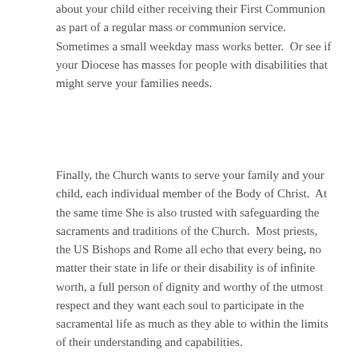about your child either receiving their First Communion as part of a regular mass or communion service. Sometimes a small weekday mass works better.  Or see if your Diocese has masses for people with disabilities that might serve your families needs.
Finally, the Church wants to serve your family and your child, each individual member of the Body of Christ.  At the same time She is also trusted with safeguarding the sacraments and traditions of the Church.  Most priests, the US Bishops and Rome all echo that every being, no matter their state in life or their disability is of infinite worth, a full person of dignity and worthy of the utmost respect and they want each soul to participate in the sacramental life as much as they able to within the limits of their understanding and capabilities.